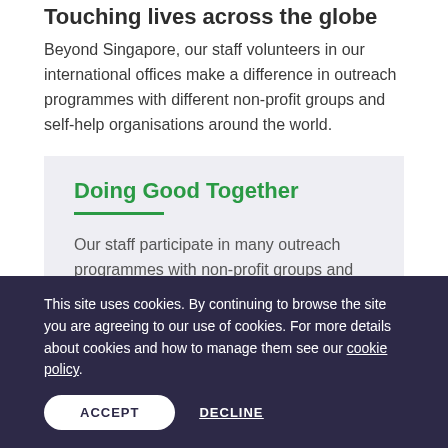Touching lives across the globe
Beyond Singapore, our staff volunteers in our international offices make a difference in outreach programmes with different non-profit groups and self-help organisations around the world.
Doing Good Together
Our staff participate in many outreach programmes with non-profit groups and self-help organisations in countries where we have a presence.
This site uses cookies. By continuing to browse the site you are agreeing to our use of cookies. For more details about cookies and how to manage them see our cookie policy.